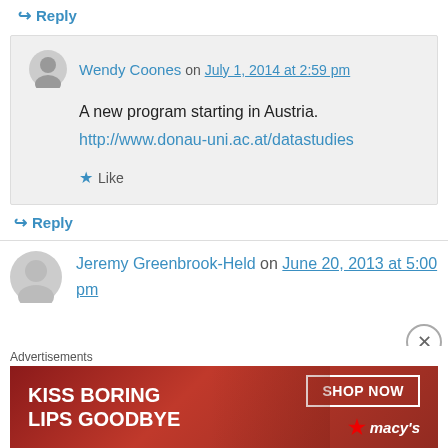↪ Reply
Wendy Coones on July 1, 2014 at 2:59 pm
A new program starting in Austria.
http://www.donau-uni.ac.at/datastudies
Like
↪ Reply
Jeremy Greenbrook-Held on June 20, 2013 at 5:00 pm
Advertisements
[Figure (photo): Macy's advertisement: KISS BORING LIPS GOODBYE with SHOP NOW button and Macy's logo]